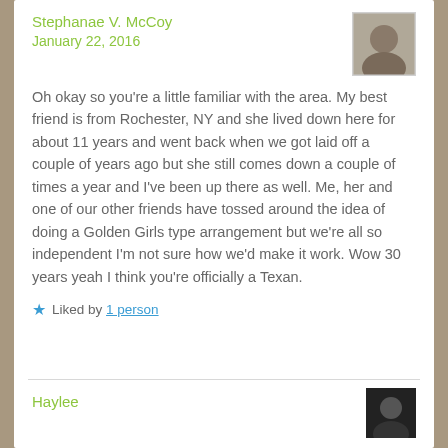Stephanae V. McCoy
January 22, 2016
[Figure (photo): Profile photo of Stephanae V. McCoy]
Oh okay so you're a little familiar with the area. My best friend is from Rochester, NY and she lived down here for about 11 years and went back when we got laid off a couple of years ago but she still comes down a couple of times a year and I've been up there as well. Me, her and one of our other friends have tossed around the idea of doing a Golden Girls type arrangement but we're all so independent I'm not sure how we'd make it work. Wow 30 years yeah I think you're officially a Texan.
Liked by 1 person
Haylee
[Figure (photo): Profile photo of Haylee]